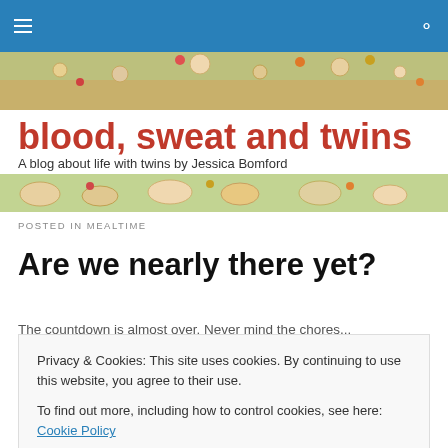blood, sweat and twins — A blog about life with twins by Jessica Bomford
[Figure (photo): Decorative banner showing colorful decorated cookies on a checkered background]
blood, sweat and twins
A blog about life with twins by Jessica Bomford
POSTED IN MEALTIME
Are we nearly there yet?
The countdown is almost over. Never mind the chores...
Privacy & Cookies: This site uses cookies. By continuing to use this website, you agree to their use.
To find out more, including how to control cookies, see here: Cookie Policy
Close and accept
always the bliss I imagine, the relief of being released from...